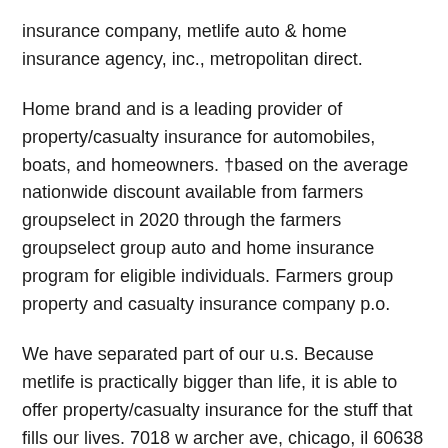insurance company, metlife auto & home insurance agency, inc., metropolitan direct.
Home brand and is a leading provider of property/casualty insurance for automobiles, boats, and homeowners. †based on the average nationwide discount available from farmers groupselect in 2020 through the farmers groupselect group auto and home insurance program for eligible individuals. Farmers group property and casualty insurance company p.o.
We have separated part of our u.s. Because metlife is practically bigger than life, it is able to offer property/casualty insurance for the stuff that fills our lives. 7018 w archer ave, chicago, il 60638
Metropolitan property and casualty insurance co. Old